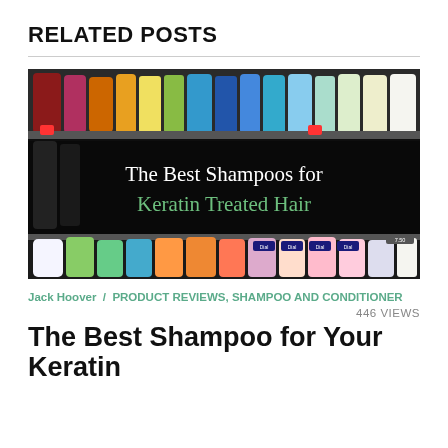RELATED POSTS
[Figure (photo): Photo of a drugstore shelf filled with shampoo and body wash bottles, with overlay text reading 'The Best Shampoos for Keratin Treated Hair']
Jack Hoover / PRODUCT REVIEWS, SHAMPOO AND CONDITIONER
446 VIEWS
The Best Shampoo for Your Keratin